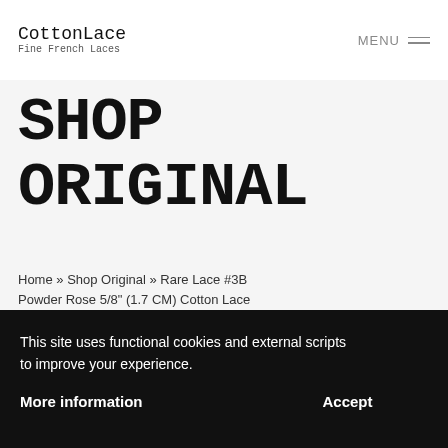CottonLace Fine French Laces | MENU
SHOP ORIGINAL
Home » Shop Original » Rare Lace #3B Powder Rose 5/8" (1.7 CM) Cotton Lace
This site uses functional cookies and external scripts to improve your experience.
More information    Accept